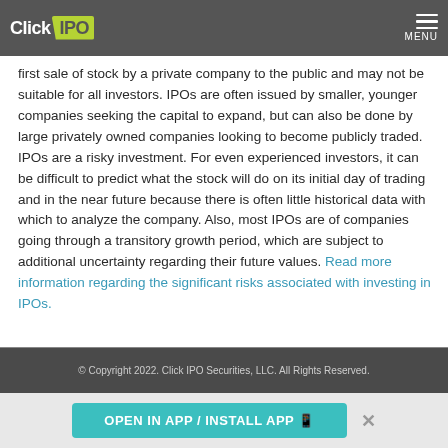ClickIPO MENU
first sale of stock by a private company to the public and may not be suitable for all investors. IPOs are often issued by smaller, younger companies seeking the capital to expand, but can also be done by large privately owned companies looking to become publicly traded. IPOs are a risky investment. For even experienced investors, it can be difficult to predict what the stock will do on its initial day of trading and in the near future because there is often little historical data with which to analyze the company. Also, most IPOs are of companies going through a transitory growth period, which are subject to additional uncertainty regarding their future values. Read more information regarding the significant risks associated with investing in IPOs.
© Copyright 2022. Click IPO Securities, LLC. All Rights Reserved.
OPEN IN APP / INSTALL APP